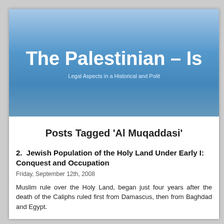The Palestinian – Is
Legal Aspects in a Historical and Polit
Posts Tagged 'Al Muqaddasi'
2. Jewish Population of the Holy Land Under Early I: Conquest and Occupation
Friday, September 12th, 2008
Muslim rule over the Holy Land, began just four years after the death of the Caliphs ruled first from Damascus, then from Baghdad and Egypt.